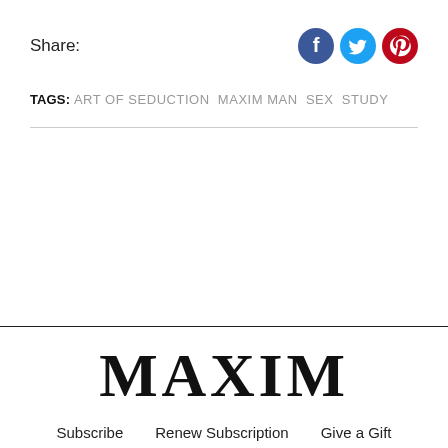Share:
[Figure (illustration): Three social media icon circles: Facebook (dark blue), Twitter (light blue), Pinterest (red)]
TAGS: ART OF SEDUCTION  MAXIM MAN  SEX  STUDY
MAXIM  Subscribe  Renew Subscription  Give a Gift